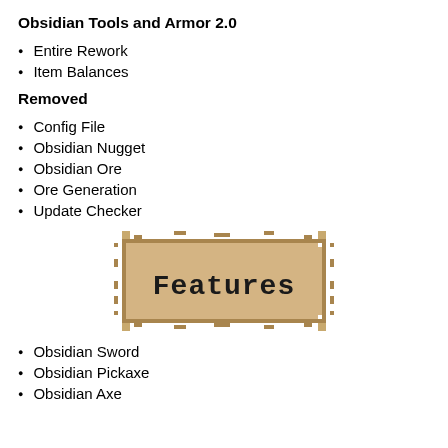Obsidian Tools and Armor 2.0
Entire Rework
Item Balances
Removed
Config File
Obsidian Nugget
Obsidian Ore
Ore Generation
Update Checker
[Figure (illustration): Minecraft-style pixel art banner with tan/brown parchment texture displaying the word 'Features' in black pixel font]
Obsidian Sword
Obsidian Pickaxe
Obsidian Axe